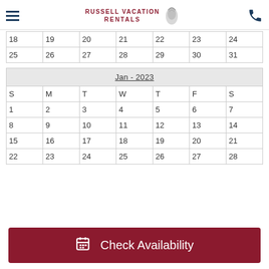Russell Vacation Rentals
| 18 | 19 | 20 | 21 | 22 | 23 | 24 |
| 25 | 26 | 27 | 28 | 29 | 30 | 31 |
| S | M | T | W | T | F | S |
| --- | --- | --- | --- | --- | --- | --- |
| 1 | 2 | 3 | 4 | 5 | 6 | 7 |
| 8 | 9 | 10 | 11 | 12 | 13 | 14 |
| 15 | 16 | 17 | 18 | 19 | 20 | 21 |
| 22 | 23 | 24 | 25 | 26 | 27 | 28 |
Check Availability